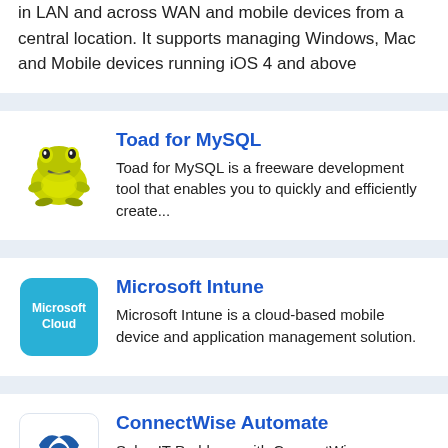in LAN and across WAN and mobile devices from a central location. It supports managing Windows, Mac and Mobile devices running iOS 4 and above
[Figure (logo): Toad for MySQL frog logo illustration]
Toad for MySQL
Toad for MySQL is a freeware development tool that enables you to quickly and efficiently create...
[Figure (logo): Microsoft Cloud icon - cyan/blue rounded square with text 'Microsoft Cloud']
Microsoft Intune
Microsoft Intune is a cloud-based mobile device and application management solution.
[Figure (logo): ConnectWise Automate logo - blue bird/wing icon]
ConnectWise Automate
Solve IT Problems with ConnectWise Automate, Remote Monitoring and Remote Man...